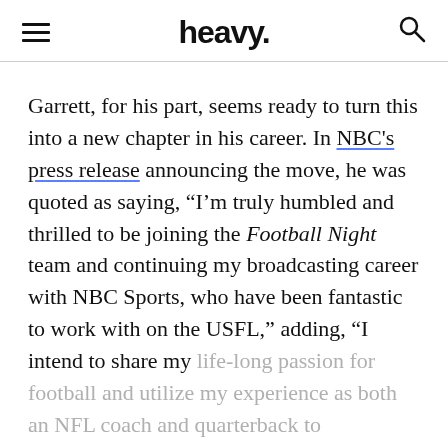heavy.
Garrett, for his part, seems ready to turn this into a new chapter in his career. In NBC's press release announcing the move, he was quoted as saying, “I’m truly humbled and thrilled to be joining the Football Night team and continuing my broadcasting career with NBC Sports, who have been fantastic to work with on the USFL,” adding, “I intend to share my life-long passion for football and utilize my experience as both an NFL coach and quarterback to